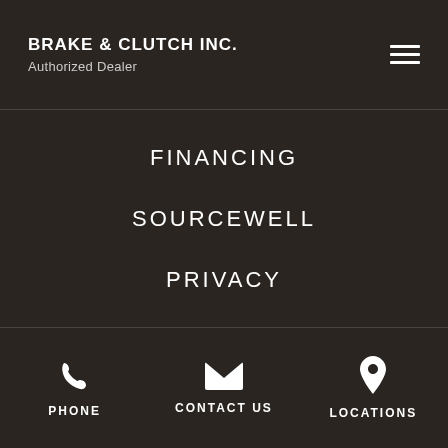BRAKE & CLUTCH INC. Authorized Dealer
FINANCING
SOURCEWELL
PRIVACY
PHONE | CONTACT US | LOCATIONS